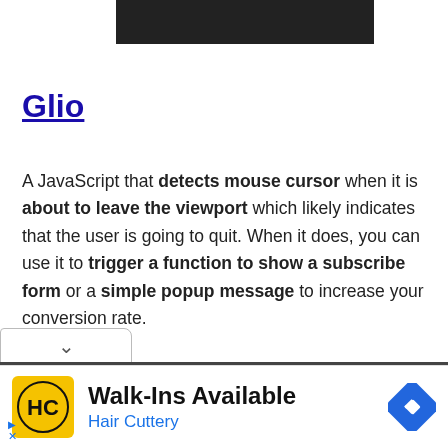[Figure (screenshot): Dark/black rectangular banner at the top center of the page, representing a website header or image placeholder.]
Glio
A JavaScript that detects mouse cursor when it is about to leave the viewport which likely indicates that the user is going to quit. When it does, you can use it to trigger a function to show a subscribe form or a simple popup message to increase your conversion rate.
[Figure (screenshot): Advertisement banner for Hair Cuttery showing 'Walk-Ins Available' with the Hair Cuttery logo (HC in a circle) on a yellow background, and a blue navigation/directions diamond icon on the right. Small ad controls (triangle and X) appear in the bottom left corner.]